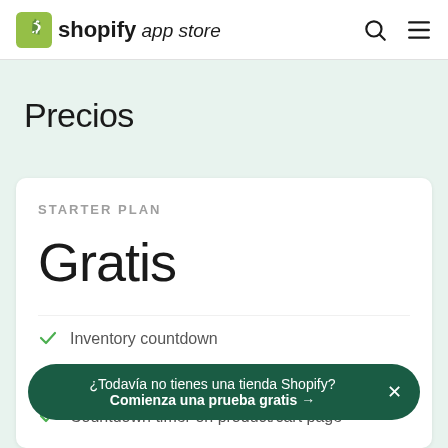shopify app store
Precios
STARTER PLAN
Gratis
Inventory countdown
¿Todavía no tienes una tienda Shopify? Comienza una prueba gratis →
Countdown timer on product/cart page